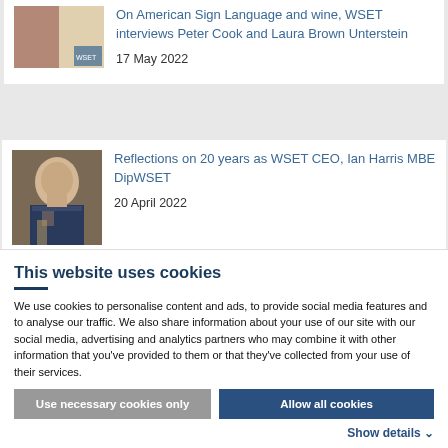[Figure (photo): Small thumbnail image showing people, likely related to American Sign Language and wine article]
On American Sign Language and wine, WSET interviews Peter Cook and Laura Brown Unterstein
17 May 2022
[Figure (photo): Photo of Ian Harris MBE DipWSET, smiling man in suit holding a glass]
Reflections on 20 years as WSET CEO, Ian Harris MBE DipWSET
20 April 2022
This website uses cookies
We use cookies to personalise content and ads, to provide social media features and to analyse our traffic. We also share information about your use of our site with our social media, advertising and analytics partners who may combine it with other information that you've provided to them or that they've collected from your use of their services.
Use necessary cookies only
Allow all cookies
Show details